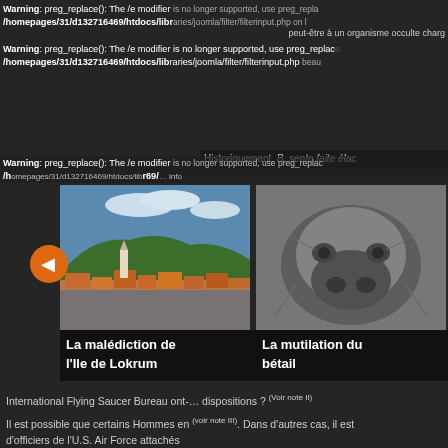Warning: preg_replace(): The /e modifier is no longer supported, use preg_replace_callback instead in /homepages/31/d132716469/htdocs/libraries/joomla/filter/filterinput.php on line ...
... peut-être à un organisme occulte charg...
Warning: preg_replace(): The /e modifier is no longer supported, use preg_replace_callback instead in /homepages/31/d132716469/htdocs/libraries/joomla/filter/filterinput.php on line ...
Warning: preg_replace(): The /e modifier is no longer supported, use preg_replace_callback instead in /homepages/31/d132716469/htdocs/libraries/joomla/filter/filterinput.php on line ...
[Figure (photo): Aerial/coastal view of Lokrum island with orange rooftops and sea - card thumbnail for 'La malédiction de l'Ile de Lokrum']
La malédiction de l'Ile de Lokrum
[Figure (photo): Black and white close-up photo of an animal face, possibly cattle - card thumbnail for 'La mutilation du bétail']
La mutilation du bétail
[Figure (photo): Book cover: Fantômes et Esprits Errants by Danielle Goyette - card thumbnail for 'Le chalet hanté']
Le chalet hanté
International Flying Saucer Bureau ont-... dispositions ? (Voir note II)
Il est possible que certains Hommes en (voir note III). Dans d'autres cas, il est d'officiers de l'U.S. Air Force attachés plume d'un journaliste ou d'un auteur e... Enfin, il n'est pas exclu que certains H...